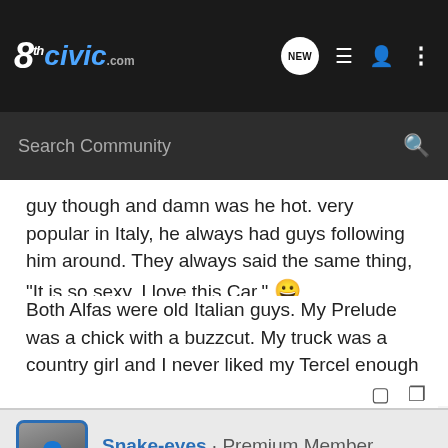8thCivic.com — NEW | navigation icons | Search Community
guy though and damn was he hot. very popular in Italy, he always had guys following him around. They always said the same thing, "It is so sexy. I love this Car." 😀
Both Alfas were old Italian guys. My Prelude was a chick with a buzzcut. My truck was a country girl and I never liked my Tercel enough to care.
Snake-eyes · Premium Member
Joined May 5, 2007 · 11,200 Posts